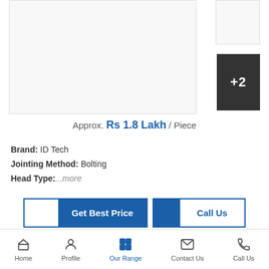[Figure (photo): Product image placeholder with +2 overlay thumbnail on the right]
Approx. Rs 1.8 Lakh / Piece
Brand: ID Tech
Jointing Method: Bolting
Head Type:...more
Get Best Price
Call Us
Crash Rated Bollard
Approx. Rs 2-- Lakh / Piece
Home | Profile | Our Range | Contact Us | Call Us